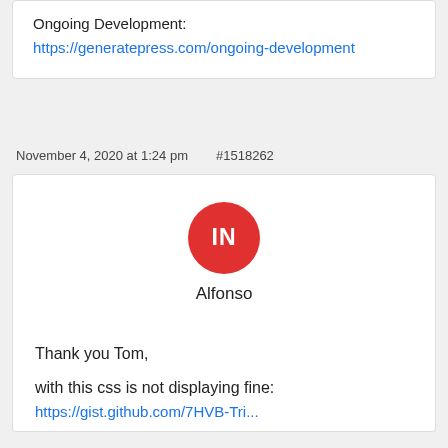Ongoing Development: https://generatepress.com/ongoing-development
November 4, 2020 at 1:24 pm   #1518262
[Figure (other): User avatar circle with initials IN in red, with name Alfonso below]
Thank you Tom,

with this css is not displaying fine:

https://gist.github.com/7HVB-Tri...